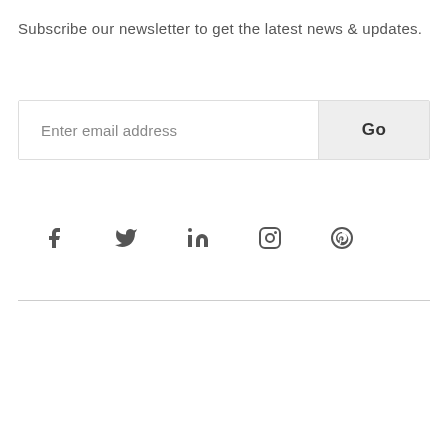Subscribe our newsletter to get the latest news & updates.
[Figure (other): Email subscription form with text input field labeled 'Enter email address' and a 'Go' button]
[Figure (other): Social media icons row: Facebook, Twitter, LinkedIn, Instagram, Pinterest]
Terms and Conditions   Privacy Policy
© Copyright 2021 Wivro. All rights reserved.